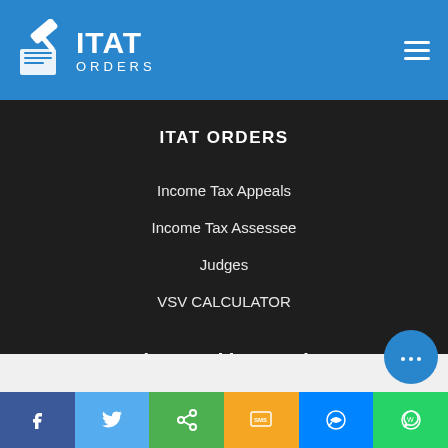ITAT ORDERS
ITAT ORDERS
Income Tax Appeals
Income Tax Assessee
Judges
VSV CALCULATOR
Receive Weekly Newsletter
Subscribe us to receive weekly summary of appeals at ITAT Orders.